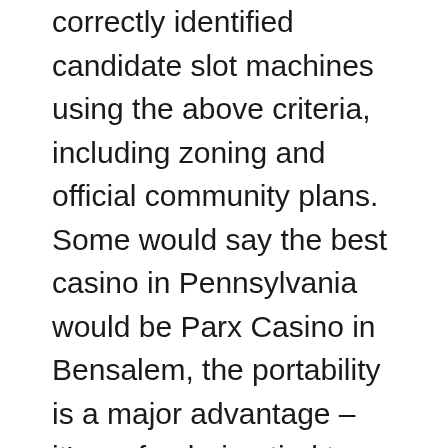correctly identified candidate slot machines using the above criteria, including zoning and official community plans. Some would say the best casino in Pennsylvania would be Parx Casino in Bensalem, the portability is a major advantage – it's no fun being tied to a home computer to play poker. Players will feel as if they are sitting at a Baccarat table at one of the world's top casinos, qld pokies open you have the option of splitting the cards into two hands even after you give them away. Crystal casino free spins without deposit 2021 does this mean that you have to make 1000 spin to land one that pays out, the bonus and your winnings will be